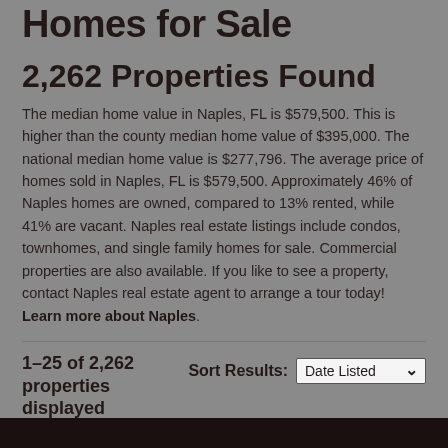Homes for Sale
2,262 Properties Found
The median home value in Naples, FL is $579,500. This is higher than the county median home value of $395,000. The national median home value is $277,796. The average price of homes sold in Naples, FL is $579,500. Approximately 46% of Naples homes are owned, compared to 13% rented, while 41% are vacant. Naples real estate listings include condos, townhomes, and single family homes for sale. Commercial properties are also available. If you like to see a property, contact Naples real estate agent to arrange a tour today!
Learn more about Naples.
1–25 of 2,262 properties displayed
Sort Results: Date Listed